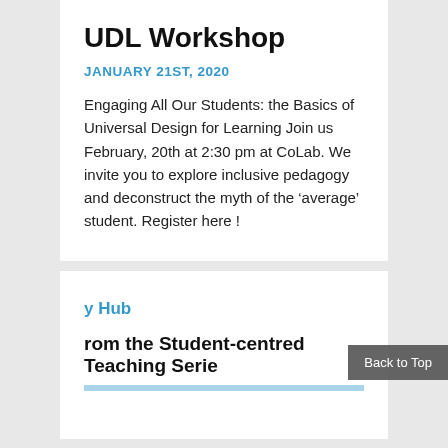UDL Workshop
JANUARY 21ST, 2020
Engaging All Our Students: the Basics of Universal Design for Learning Join us February, 20th at 2:30 pm at CoLab. We invite you to explore inclusive pedagogy and deconstruct the myth of the ‘average’ student. Register here !
y Hub
rom the Student-centred Teaching Serie…